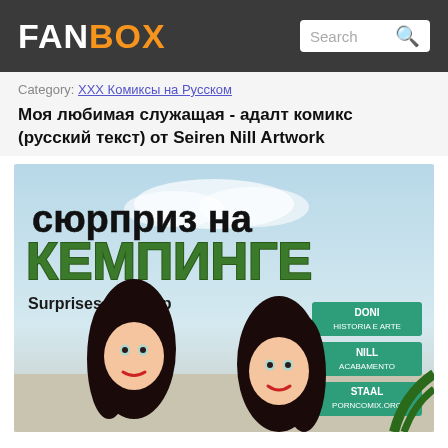FANBOX | Search
Category: ХХХ Комиксы на Русском
Моя любимая служащая - адалт комикс (русский текст) от Seiren Nill Artwork
[Figure (illustration): Comic book cover titled 'сюрприз на КЕМПИНГЕ' (Surprises At Camp) showing two illustrated women with dark hair against a light background, with green bubble-letter title. Credits: DONI HISTORIA E ARTE, NILL ACABAMENTO, STAAL PORNCOMIX.ORG]